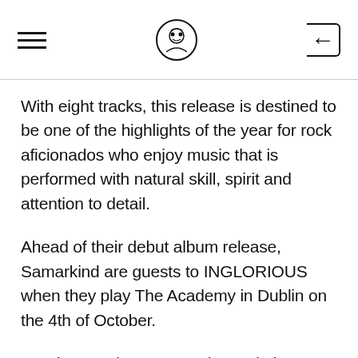[hamburger menu] [logo icon] [back button]
With eight tracks, this release is destined to be one of the highlights of the year for rock aficionados who enjoy music that is performed with natural skill, spirit and attention to detail.
Ahead of their debut album release, Samarkind are guests to INGLORIOUS when they play The Academy in Dublin on the 4th of October.
“We hope to have created a work that creates many pictures, with intertwining